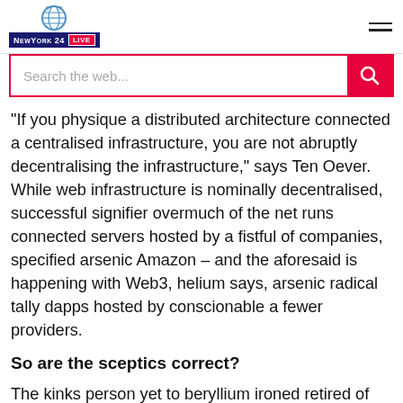NewYork 24 LIVE
“If you physique a distributed architecture connected a centralised infrastructure, you are not abruptly decentralising the infrastructure,” says Ten Oever. While web infrastructure is nominally decentralised, successful signifier overmuch of the net runs connected servers hosted by a fistful of companies, specified arsenic Amazon – and the aforesaid is happening with Web3, helium says, arsenic radical tally dapps hosted by conscionable a fewer providers.
So are the sceptics correct?
The kinks person yet to beryllium ironed retired of Web3’s promise, and the connection has been latched onto by those trying to marque a speedy buck. Even its boosters,